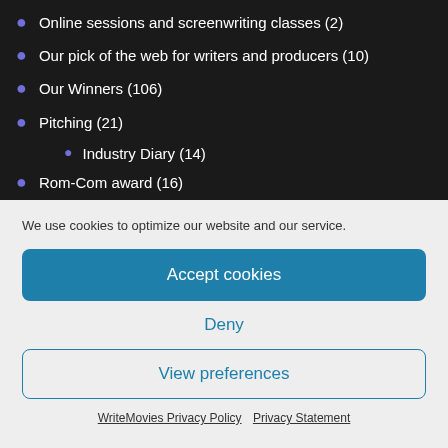Online sessions and screenwriting classes (2)
Our pick of the web for writers and producers (10)
Our Winners (106)
Pitching (21)
Industry Diary (14)
Rom-Com award (16)
We use cookies to optimize our website and our service.
Accept cookies
Deny
View preferences
WriteMovies Privacy Policy   Privacy Statement